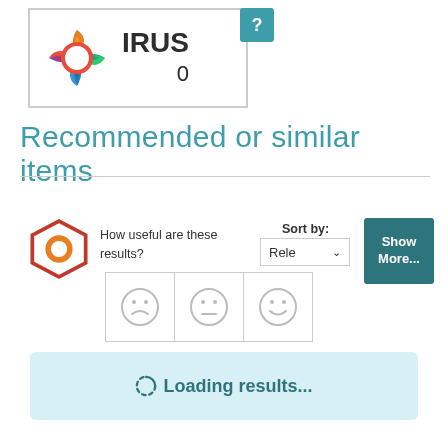[Figure (logo): IRUS logo with colorful star/gear shape and text IRUS with 0 below, inside a bordered box]
[Figure (logo): Question mark badge in teal color]
Recommended or similar items
[Figure (logo): iKVA logo (orange hexagon with circle)]
How useful are these results?
Sort by:
Rele
Show More...
[Figure (infographic): Three emoji face rating buttons: sad, neutral, happy]
Loading results...